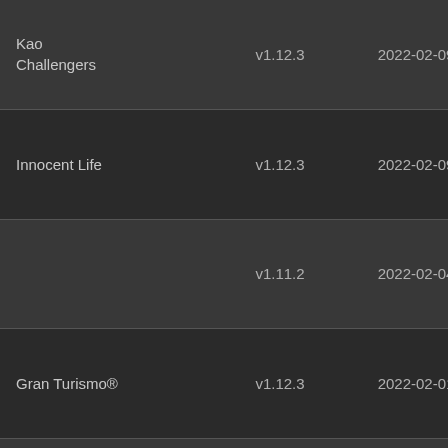| Game | Version | Date | Info |
| --- | --- | --- | --- |
| Kao Challengers | v1.12.3 | 2022-02-09 | UNIM sceK 0000 crash |
| Innocent Life | v1.12.3 | 2022-02-09 | UNIM sceK 0000 crash |
|  | v1.11.2 | 2022-02-04 | UNIM sceK 0000 crash |
| Gran Turismo® | v1.12.3 | 2022-02-01 | UNIM sceK 0000 crash |
| Call of Duty : Roads to Victory™ | v1.10.2 | 2022-02-01 | UNIM sceK 0000 crash |